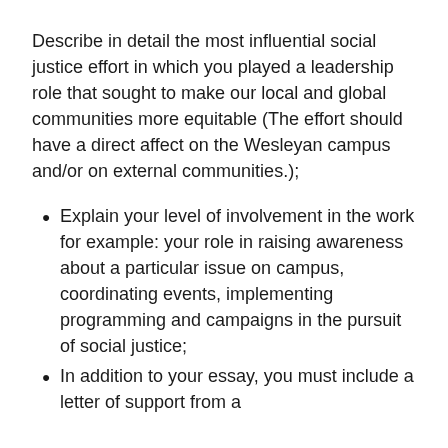Describe in detail the most influential social justice effort in which you played a leadership role that sought to make our local and global communities more equitable (The effort should have a direct affect on the Wesleyan campus and/or on external communities.);
Explain your level of involvement in the work for example: your role in raising awareness about a particular issue on campus, coordinating events, implementing programming and campaigns in the pursuit of social justice;
In addition to your essay, you must include a letter of support from a